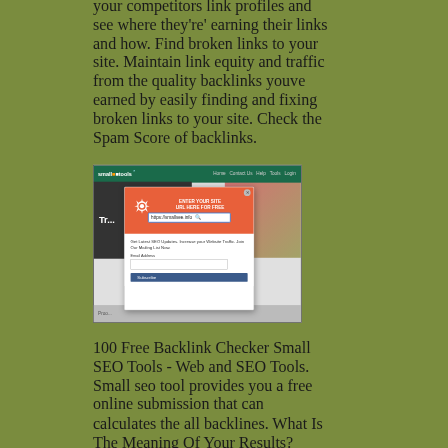your competitors link profiles and see where they're' earning their links and how. Find broken links to your site. Maintain link equity and traffic from the quality backlinks youve earned by easily finding and fixing broken links to your site. Check the Spam Score of backlinks.
[Figure (screenshot): Screenshot of Small SEO Tools website with a popup modal overlay showing a subscription form. The popup has an orange header with a gear icon and URL bar showing https://smallsee.info, and a body with text 'Get Latest SEO Updates. Increase your Website Traffic. Join Our Mailing List Now.' with an email address input and Subscribe button.]
100 Free Backlink Checker Small SEO Tools - Web and SEO Tools. Small seo tool provides you a free online submission that can calculates the all backlines. What Is The Meaning Of Your Results?